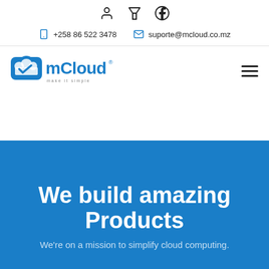mCloud website header with user, cart, and Facebook icons
+258 86 522 3478  suporte@mcloud.co.mz
[Figure (logo): mCloud logo — blue cloud with checkmark and bold blue mCloud text, tagline below]
We build amazing Products
We're on a mission to simplify cloud computing.